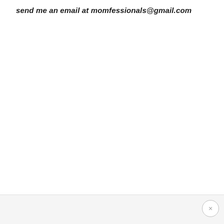send me an email at momfessionals@gmail.com
×